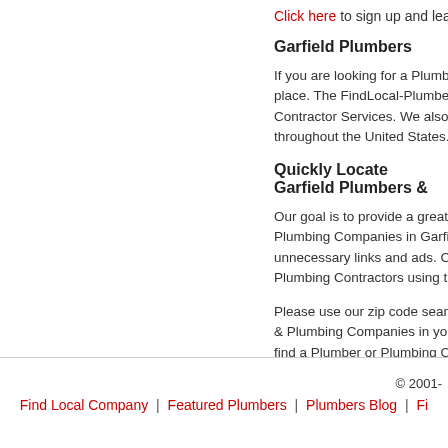Click here to sign up and learn more ab...
Garfield Plumbers
If you are looking for a Plumber or Plu... place. The FindLocal-Plumber Director... Contractor Services. We also display P... throughout the United States.
Quickly Locate Garfield Plumbers &...
Our goal is to provide a great experien... Plumbing Companies in Garfield, AR. W... unnecessary links and ads. Consumers... Plumbing Contractors using the FindLo...
Please use our zip code search functio... & Plumbing Companies in your area if ... find a Plumber or Plumbing Company.
© 2001-
Find Local Company | Featured Plumbers | Plumbers Blog | Fi...